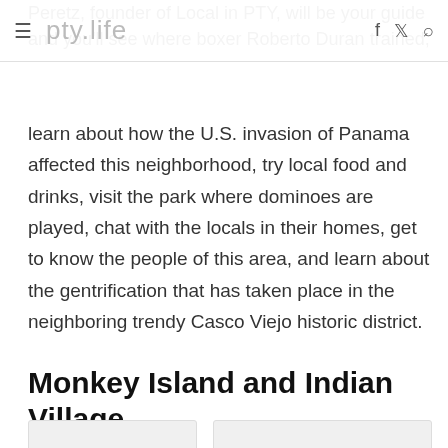pty.life (navigation header with menu, logo, social icons, search)
Peretz, founder of Local in PTY, will be your guide and you'll see where boxer Roberto Duran trained, learn about how the U.S. invasion of Panama affected this neighborhood, try local food and drinks, visit the park where dominoes are played, chat with the locals in their homes, get to know the people of this area, and learn about the gentrification that has taken place in the neighboring trendy Casco Viejo historic district.
Monkey Island and Indian Village
[Figure (photo): Two partially visible photographs side by side at the bottom of the page]